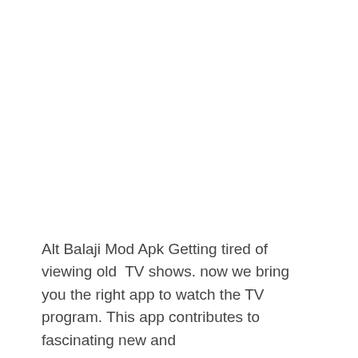Alt Balaji Mod Apk Getting tired of viewing old  TV shows. now we bring you the right app to watch the TV program. This app contributes to fascinating new and